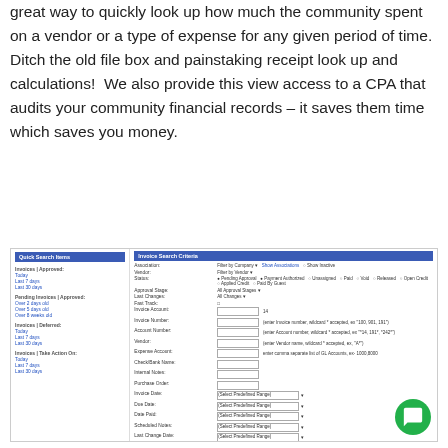great way to quickly look up how much the community spent on a vendor or a type of expense for any given period of time.  Ditch the old file box and painstaking receipt look up and calculations!  We also provide this view access to a CPA that audits your community financial records – it saves them time which saves you money.
[Figure (screenshot): Screenshot of an Invoice Search interface with left panel showing Quick Search Items (Invoices Approved, Pending Invoices Approved, Invoices Deferred, Invoices Take Action On) with date links, and right panel showing Invoice Search Criteria with fields for Association, Vendor, Status, Approval Stage, Last Changes, Fast Track, Invoice Account, Invoice Number, Account Number, Vendor, Expense Account, Check/Bank Name, Internal Notes, Purchase Order, Invoice Date, Due Date, Date Paid, Scheduled Notes, Last Change Date, Created Date, Posting Date, and Search/Clear All buttons.]